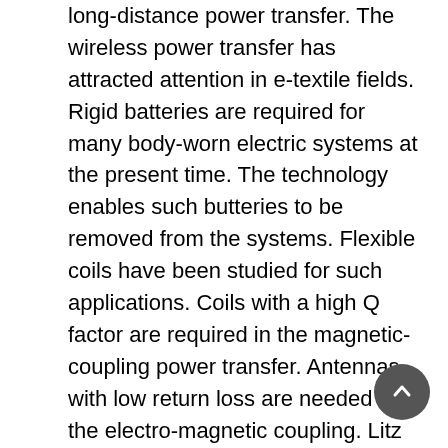long-distance power transfer. The wireless power transfer has attracted attention in e-textile fields. Rigid batteries are required for many body-worn electric systems at the present time. The technology enables such butteries to be removed from the systems. Flexible coils have been studied for such applications. Coils with a high Q factor are required in the magnetic-coupling power transfer. Antennas with low return loss are needed for the electro-magnetic coupling. Litz wire is so flexible to fabricate coils and antennas sewn on a fabric and has low resistivity. In this study, the electric characteristics of some coils and antennas fabricated with the litz wire by using two sewing techniques are investigated. As examples, a coil and an antenna are described. Both were fabricated with 330/0.04 mm litz wire. The coil was a planar coil with a square shape. The outer side was 150 mm, the number of turns was 15, and the pitch interval between each turn was 5 mm.